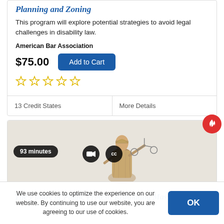Planning and Zoning
This program will explore potential strategies to avoid legal challenges in disability law.
American Bar Association
$75.00
[Figure (other): Five empty gold star rating icons]
13 Credit States
More Details
[Figure (photo): Lady Justice bronze statue holding scales, with overlay badges: 93 minutes duration, video camera icon, CC closed captions icon, and a red fire/hot badge in top right corner]
The Future of Public Protest: Regulating Mass...
We use cookies to optimize the experience on our website. By continuing to use our website, you are agreeing to our use of cookies.